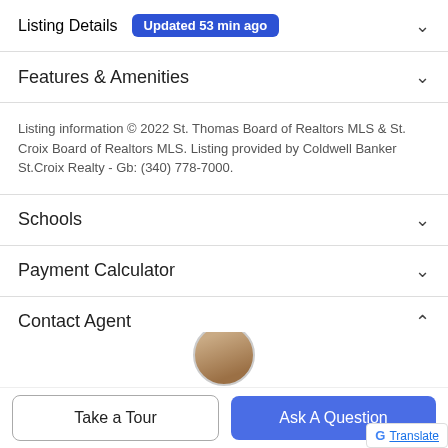Listing Details  Updated 53 min ago
Features & Amenities
Listing information © 2022 St. Thomas Board of Realtors MLS & St. Croix Board of Realtors MLS. Listing provided by Coldwell Banker St.Croix Realty - Gb: (340) 778-7000.
Schools
Payment Calculator
Contact Agent
[Figure (photo): Partial view of a real estate agent's profile photo (head/shoulders, cropped at bottom of screen)]
Take a Tour
Ask A Question
Translate